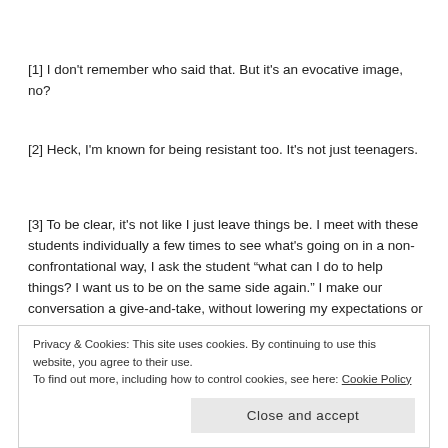[1] I don't remember who said that. But it's an evocative image, no?
[2] Heck, I'm known for being resistant too. It's not just teenagers.
[3] To be clear, it's not like I just leave things be. I meet with these students individually a few times to see what's going on in a non-confrontational way, I ask the student “what can I do to help things? I want us to be on the same side again.” I make our conversation a give-and-take, without lowering my expectations or giving the student things I am not willing to give every student. I bring the adviser or
Privacy & Cookies: This site uses cookies. By continuing to use this website, you agree to their use.
To find out more, including how to control cookies, see here: Cookie Policy
Close and accept